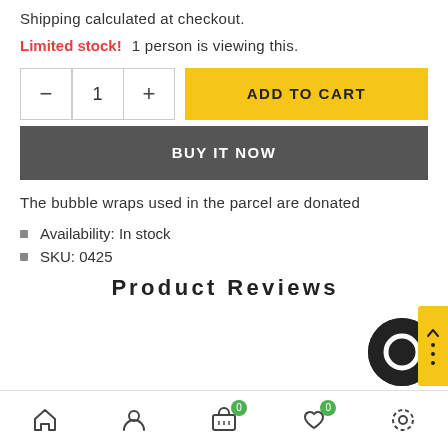Shipping calculated at checkout.
Limited stock!  1 person is viewing this.
ADD TO CART
BUY IT NOW
The bubble wraps used in the parcel are donated
Availability: In stock
SKU: 0425
Product Reviews (partial heading cut off)
Home | Account | Cart 0 | Wishlist 0 | Settings